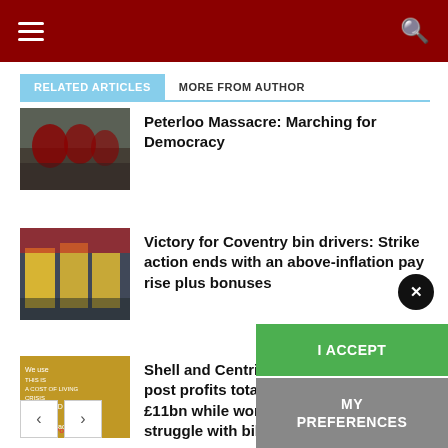Navigation header with hamburger menu and search icon
RELATED ARTICLES | MORE FROM AUTHOR
Peterloo Massacre: Marching for Democracy
Victory for Coventry bin drivers: Strike action ends with an above-inflation pay rise plus bonuses
Shell and Centrica post profits totalling £11bn while workers struggle with bills
Cookie Policy overlay: I ACCEPT / MY PREFERENCES